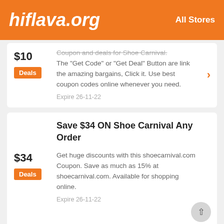hiflava.org   All Stores
$10
Deals
Coupon and deals for Shoe Carnival. The "Get Code" or "Get Deal" Button are link the amazing bargains, Click it. Use best coupon codes online whenever you need.
Expire 26-11-22
Save $34 ON Shoe Carnival Any Order
$34
Deals
Get huge discounts with this shoecarnival.com Coupon. Save as much as 15% at shoecarnival.com. Available for shopping online.
Expire 26-11-22